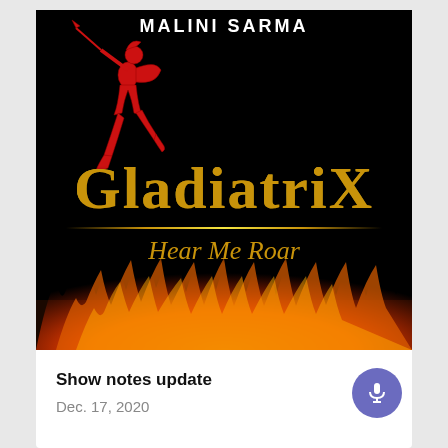[Figure (illustration): Book cover for 'GladiatriX: Hear Me Roar' by Malini Sarma. Black background with a red gladiator warrior figure jumping at top left, large gold metallic 'GladiatriX' title text in the center, gold subtitle 'Hear Me Roar' below a gold divider line, and flames at the bottom.]
Show notes update
Dec. 17, 2020